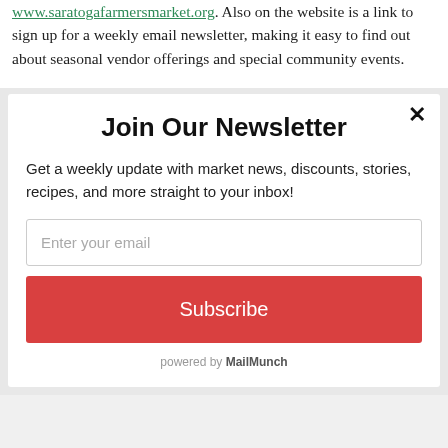www.saratogafarmersmarket.org. Also on the website is a link to sign up for a weekly email newsletter, making it easy to find out about seasonal vendor offerings and special community events.
Join Our Newsletter
Get a weekly update with market news, discounts, stories, recipes, and more straight to your inbox!
Enter your email
Subscribe
powered by MailMunch